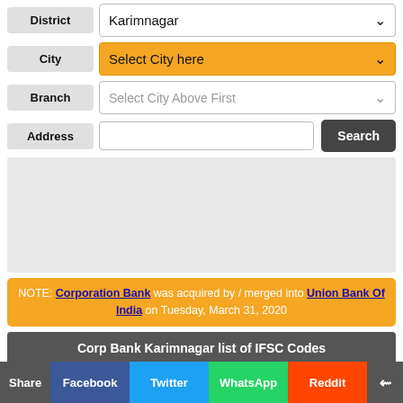| Field | Value |
| --- | --- |
| District | Karimnagar |
| City | Select City here |
| Branch | Select City Above First |
| Address |  |
[Figure (screenshot): Gray advertisement placeholder box]
NOTE: Corporation Bank was acquired by / merged into Union Bank Of India on Tuesday, March 31, 2020
Corp Bank Karimnagar list of IFSC Codes
IFSC Code: CORP0001262
Share | Facebook | Twitter | WhatsApp | Reddit